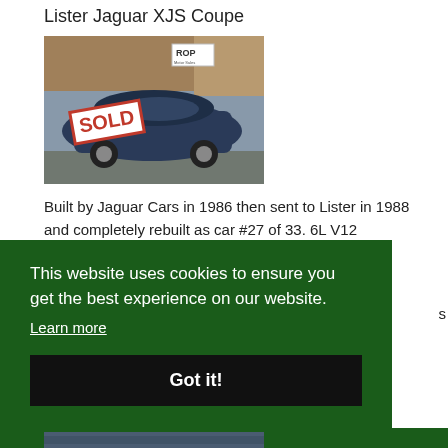Lister Jaguar XJS Coupe
[Figure (photo): A dark blue Lister Jaguar XJS Coupe with a red 'SOLD' stamp overlay, parked in a lot. A 'ROP' sign is visible in the background.]
Built by Jaguar Cars in 1986 then sent to Lister in 1988 and completely rebuilt as car #27 of 33. 6L V12
This website uses cookies to ensure you get the best experience on our website.
Learn more
Got it!
[Figure (photo): Partial view of another car photo at the bottom of the page, partially cut off.]